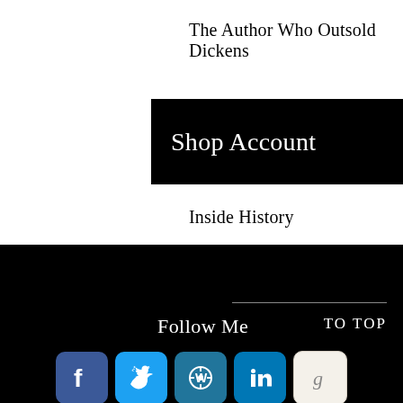The Author Who Outsold Dickens
Shop Account
Inside History
Follow Me   TO TOP
[Figure (screenshot): Social media icons: Facebook, Twitter, WordPress, LinkedIn, Goodreads]